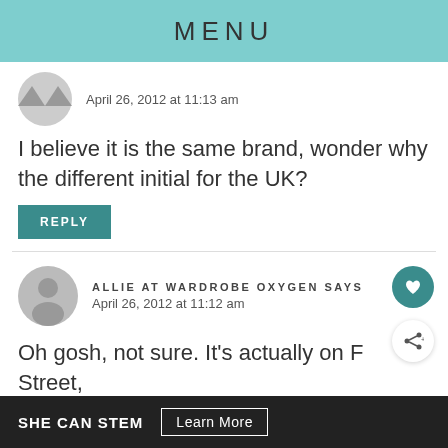MENU
April 26, 2012 at 11:13 am
I believe it is the same brand, wonder why the different initial for the UK?
REPLY
ALLIE AT WARDROBE OXYGEN SAYS
April 26, 2012 at 11:12 am
Oh gosh, not sure. It's actually on F Street,
SHE CAN STEM  Learn More